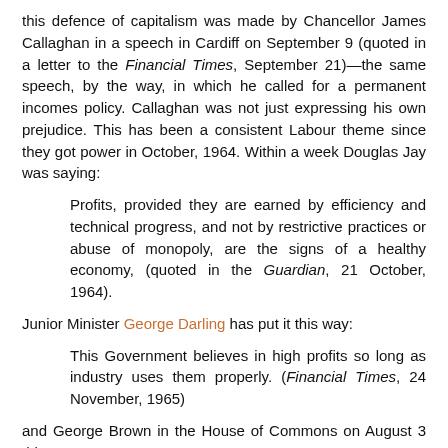this defence of capitalism was made by Chancellor James Callaghan in a speech in Cardiff on September 9 (quoted in a letter to the Financial Times, September 21)—the same speech, by the way, in which he called for a permanent incomes policy. Callaghan was not just expressing his own prejudice. This has been a consistent Labour theme since they got power in October, 1964. Within a week Douglas Jay was saying:
Profits, provided they are earned by efficiency and technical progress, and not by restrictive practices or abuse of monopoly, are the signs of a healthy economy, (quoted in the Guardian, 21 October, 1964).
Junior Minister George Darling has put it this way:
This Government believes in high profits so long as industry uses them properly. (Financial Times, 24 November, 1965)
and George Brown in the House of Commons on August 3 this year: